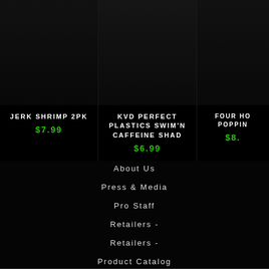[Figure (photo): Product image of Jerk Shrimp 2pk on dark background]
JERK SHRIMP 2PK
$7.99
[Figure (photo): Product image of KVD Perfect Plastics Swim'N Caffeine Shad on dark background]
KVD PERFECT PLASTICS SWIM'N CAFFEINE SHAD
$6.99
[Figure (photo): Partial product image of Four Ho... Popping... on dark background]
FOUR HO... POPPIN...
$8...
About Us
Press & Media
Pro Staff
Retailers -
Retailers -
Product Catalog